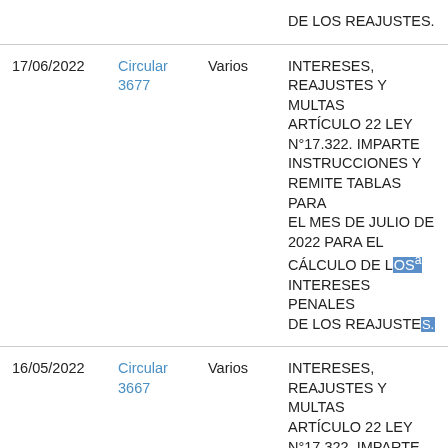| Fecha | Tipo | Destinatario | Descripción |
| --- | --- | --- | --- |
| 17/06/2022 | Circular 3677 | Varios | INTERESES, REAJUSTES Y MULTAS ARTÍCULO 22 LEY N°17.322. IMPARTE INSTRUCCIONES Y REMITE TABLAS PARA EL MES DE JULIO DE 2022 PARA EL CÁLCULO DE LOS INTERESES PENALES DE LOS REAJUSTES. |
| 16/05/2022 | Circular 3667 | Varios | INTERESES, REAJUSTES Y MULTAS ARTÍCULO 22 LEY N°17.322. IMPARTE INSTRUCCIONES Y REMITE TABLAS PARA EL MES DE JUNIO DE 2022 PARA EL CÁLCULO DE LOS |